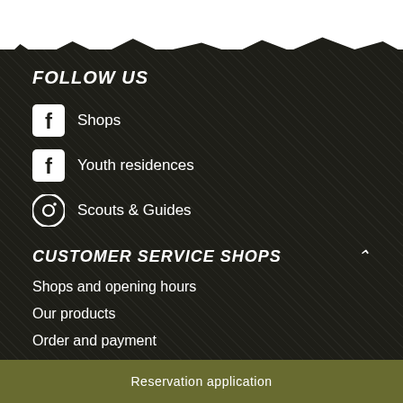FOLLOW US
Shops
Youth residences
Scouts & Guides
CUSTOMER SERVICE SHOPS
Shops and opening hours
Our products
Order and payment
Reservation application